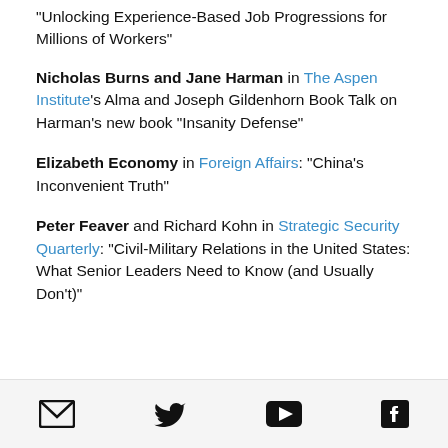"Unlocking Experience-Based Job Progressions for Millions of Workers"
Nicholas Burns and Jane Harman in The Aspen Institute's Alma and Joseph Gildenhorn Book Talk on Harman's new book "Insanity Defense"
Elizabeth Economy in Foreign Affairs: “China’s Inconvenient Truth”
Peter Feaver and Richard Kohn in Strategic Security Quarterly: "Civil-Military Relations in the United States: What Senior Leaders Need to Know (and Usually Don't)"
[Figure (other): Social media icon bar with email, Twitter, YouTube, and Facebook icons]